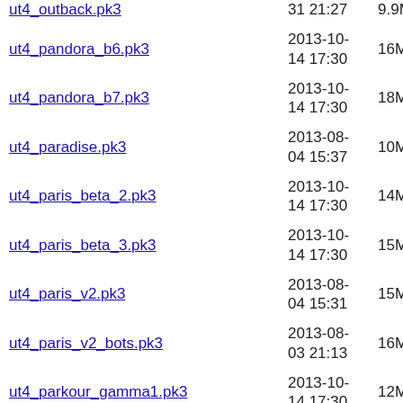ut4_outback.pk3 | 31 21:27 | 9.9M
ut4_pandora_b6.pk3 | 2013-10-14 17:30 | 16M
ut4_pandora_b7.pk3 | 2013-10-14 17:30 | 18M
ut4_paradise.pk3 | 2013-08-04 15:37 | 10M
ut4_paris_beta_2.pk3 | 2013-10-14 17:30 | 14M
ut4_paris_beta_3.pk3 | 2013-10-14 17:30 | 15M
ut4_paris_v2.pk3 | 2013-08-04 15:31 | 15M
ut4_paris_v2_bots.pk3 | 2013-08-03 21:13 | 16M
ut4_parkour_gamma1.pk3 | 2013-10-14 17:30 | 12M
ut4_pent_b4.pk3 | 2013-10-14 17:30 | 5.5M
ut4_persia.pk3 | 2013-10-14 17:30 | 3.6M
ut4_persia2.pk3 | 2013-10- | 3.8M